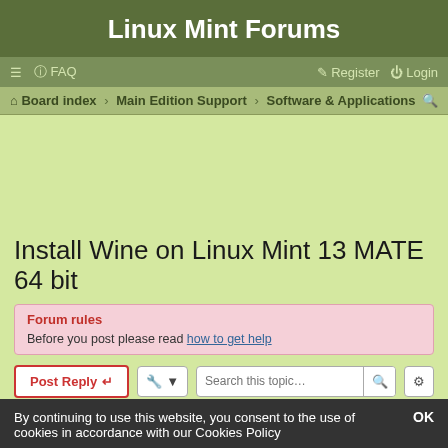Linux Mint Forums
≡  FAQ    Register  Login
Board index › Main Edition Support › Software & Applications
Install Wine on Linux Mint 13 MATE 64 bit
Forum rules
Before you post please read how to get help
Post Reply  [tools]  Search this topic…
45 posts  1  2  3  ›
xenopeek
Level 25
By continuing to use this website, you consent to the use of cookies in accordance with our Cookies Policy